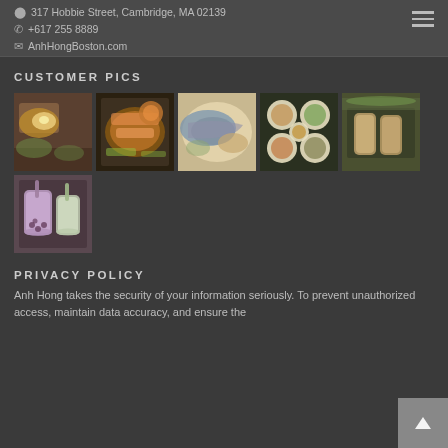317 Hobbie Street, Cambridge, MA 02139 | +617 255 8889 | AnhHongBoston.com
CUSTOMER PICS
[Figure (photo): Grid of 6 food photos from restaurant customers showing various Vietnamese dishes and bubble tea]
PRIVACY POLICY
Anh Hong takes the security of your information seriously. To prevent unauthorized access, maintain data accuracy, and ensure the